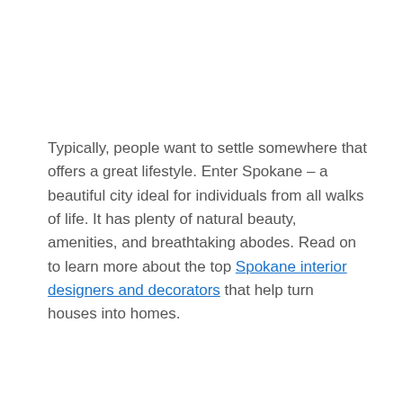Typically, people want to settle somewhere that offers a great lifestyle. Enter Spokane – a beautiful city ideal for individuals from all walks of life. It has plenty of natural beauty, amenities, and breathtaking abodes. Read on to learn more about the top Spokane interior designers and decorators that help turn houses into homes.